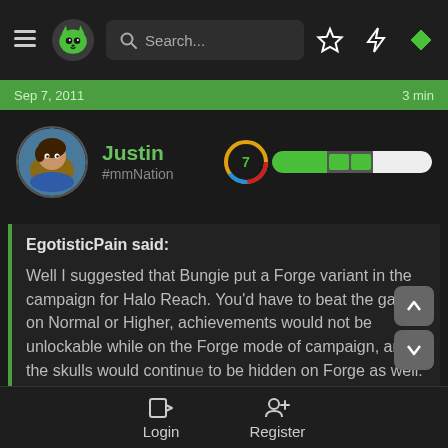Navigation bar with hamburger menu, logo, search, star, lightning, diamond icons
Sep 7, 2011 · 3 min
Justin
#mmNation
EgotisticPain said:

Well I suggested that Bungie put a Forge variant in the campaign for Halo Reach. You'd have to beat the game on Normal or Higher, achievements would not be unlockable while on the Forge mode of campaign, and the skulls would continue to be hidden on Forge as well. Sounded like a pretty good idea, but people on bungie.net are not interested in it. I thought it
Login  Register